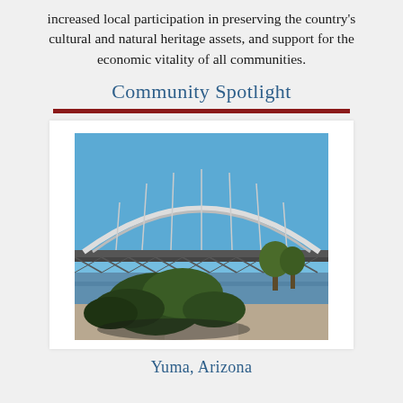increased local participation in preserving the country's cultural and natural heritage assets, and support for the economic vitality of all communities.
Community Spotlight
[Figure (photo): Photograph of a steel arch bridge over a waterway in Yuma, Arizona. Blue sky visible above the white metal truss arch bridge structure. Water and desert vegetation visible below.]
Yuma, Arizona